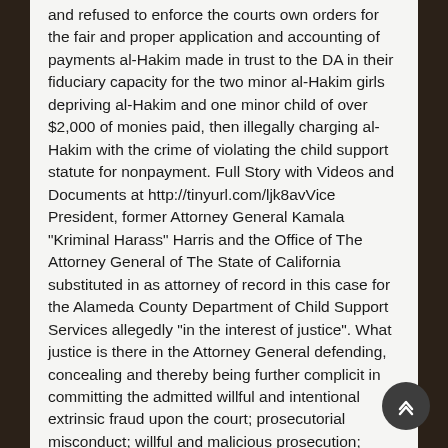and refused to enforce the courts own orders for the fair and proper application and accounting of payments al-Hakim made in trust to the DA in their fiduciary capacity for the two minor al-Hakim girls depriving al-Hakim and one minor child of over $2,000 of monies paid, then illegally charging al-Hakim with the crime of violating the child support statute for nonpayment. Full Story with Videos and Documents at http://tinyurl.com/ljk8avVice President, former Attorney General Kamala "Kriminal Harass" Harris and the Office of The Attorney General of The State of California substituted in as attorney of record in this case for the Alameda County Department of Child Support Services allegedly "in the interest of justice". What justice is there in the Attorney General defending, concealing and thereby being further complicit in committing the admitted willful and intentional extrinsic fraud upon the court; prosecutorial misconduct; willful and malicious prosecution; misconduct; conflict of interest; obstruction of justice; denial of due process under the law; willful and intentional fabrication and authoring false evidence; misstating and mischaracterizing evidence; misrepresentation and concealment of material facts with knowledge of the truth with the intent to induce the court's act or reliance; harassment; and intimidation on behalf of District Attorney Nancy O'Malley, former DA John Meehan, Tom Orloff, Rock Harmon, Kamala Harris, Maureen Lenahan, Valeria